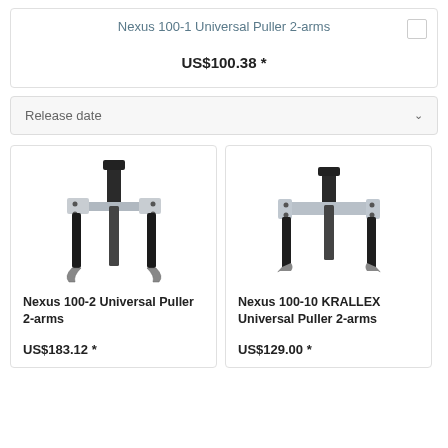Nexus 100-1 Universal Puller 2-arms
US$100.38 *
Release date
[Figure (illustration): Nexus 100-2 Universal Puller 2-arms tool illustration showing a two-arm puller with central screw shaft]
Nexus 100-2 Universal Puller 2-arms
US$183.12 *
[Figure (illustration): Nexus 100-10 KRALLEX Universal Puller 2-arms tool illustration showing a two-arm puller with central shaft]
Nexus 100-10 KRALLEX Universal Puller 2-arms
US$129.00 *